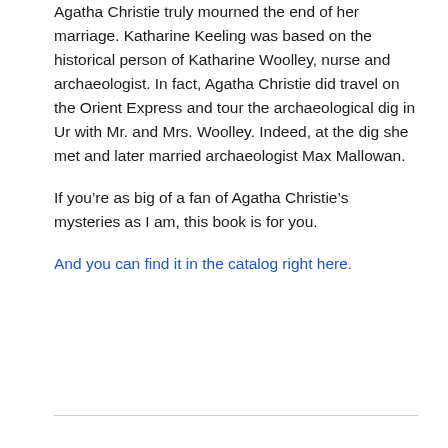Agatha Christie truly mourned the end of her marriage. Katharine Keeling was based on the historical person of Katharine Woolley, nurse and archaeologist. In fact, Agatha Christie did travel on the Orient Express and tour the archaeological dig in Ur with Mr. and Mrs. Woolley. Indeed, at the dig she met and later married archaeologist Max Mallowan.
If you’re as big of a fan of Agatha Christie’s mysteries as I am, this book is for you.
And you can find it in the catalog right here.